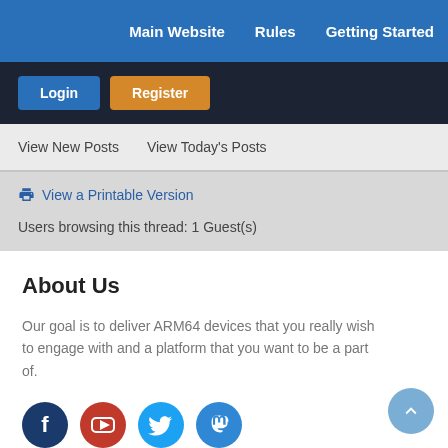Main Website   Rules   Getting Started
Login   Register
View New Posts   View Today's Posts
View a Printable Version
Users browsing this thread: 1 Guest(s)
About Us
Our goal is to deliver ARM64 devices that you really wish to engage with and a platform that you want to be a part of.
[Figure (other): Social media icons: Facebook, YouTube, Twitter, Mastodon]